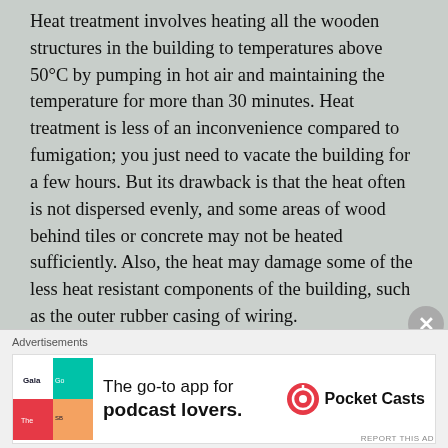Heat treatment involves heating all the wooden structures in the building to temperatures above 50°C by pumping in hot air and maintaining the temperature for more than 30 minutes. Heat treatment is less of an inconvenience compared to fumigation; you just need to vacate the building for a few hours. But its drawback is that the heat often is not dispersed evenly, and some areas of wood behind tiles or concrete may not be heated sufficiently. Also, the heat may damage some of the less heat resistant components of the building, such as the outer rubber casing of wiring.
Credit to : https://www.termiteweb.com/drywood-termite-control-and-prevention-methods/
[Figure (other): Advertisement banner for Pocket Casts app — 'The go-to app for podcast lovers.' with Pocket Casts logo and app icon.]